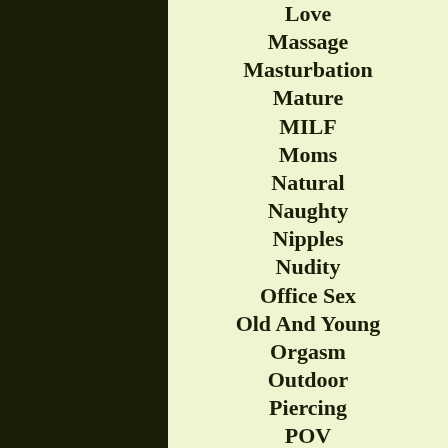Love
Massage
Masturbation
Mature
MILF
Moms
Natural
Naughty
Nipples
Nudity
Office Sex
Old And Young
Orgasm
Outdoor
Piercing
POV
Pregnant
Public XXX
Pussy
Reality
Redhead
Riding
Rimjob
Russian Porn
Sex Toys